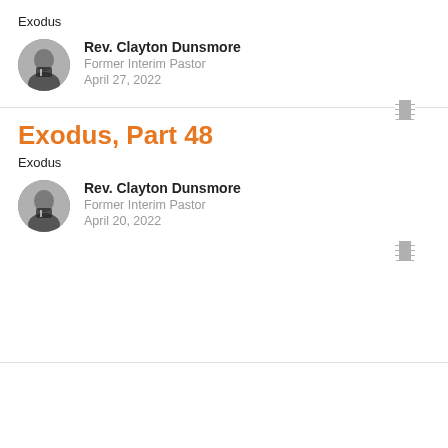Exodus
Rev. Clayton Dunsmore
Former Interim Pastor
April 27, 2022
Exodus, Part 48
Exodus
Rev. Clayton Dunsmore
Former Interim Pastor
April 20, 2022